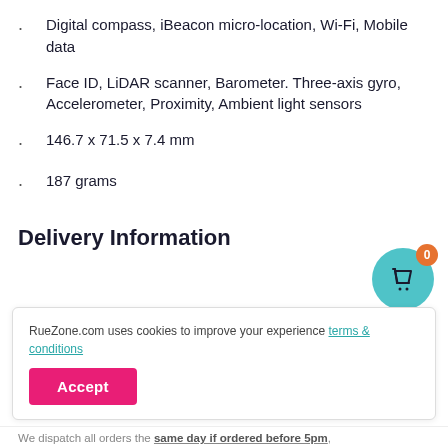Digital compass, iBeacon micro-location, Wi-Fi, Mobile data
Face ID, LiDAR scanner, Barometer. Three-axis gyro, Accelerometer, Proximity, Ambient light sensors
146.7 x 71.5 x 7.4 mm
187 grams
Delivery Information
RueZone.com uses cookies to improve your experience terms & conditions
We dispatch all orders the same day if ordered before 5pm,